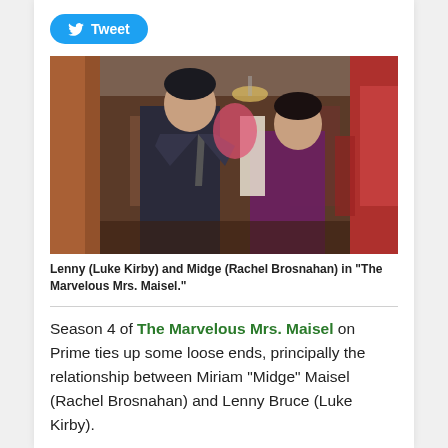[Figure (other): Twitter Tweet button with bird logo]
[Figure (photo): Lenny (Luke Kirby) and Midge (Rachel Brosnahan) facing each other in a costume/dressing room scene from The Marvelous Mrs. Maisel]
Lenny (Luke Kirby) and Midge (Rachel Brosnahan) in "The Marvelous Mrs. Maisel."
Season 4 of The Marvelous Mrs. Maisel on Prime ties up some loose ends, principally the relationship between Miriam "Midge" Maisel (Rachel Brosnahan) and Lenny Bruce (Luke Kirby).
Midge meets so-called "sick comic" Lenny in the pilot episode in 2017. After her stand-up debut during which she bares her breasts, Midge gets